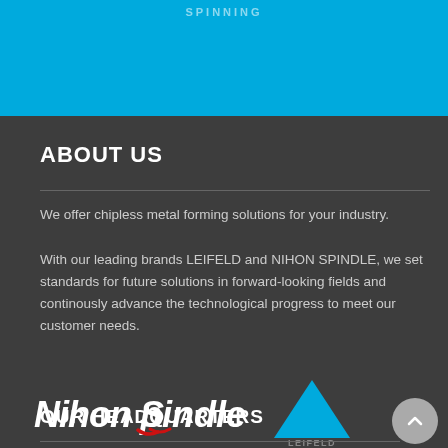SPINNING
ABOUT US
We offer chipless metal forming solutions for your industry.
With our leading brands LEIFELD and NIHON SPINDLE, we set standards for future solutions in forward-looking fields and continously advance the technological progress to meet our customer needs.
[Figure (logo): Nihon Spindle logo in white italic text with red S curve, and Leifeld blue triangle logo with LEIFELD text]
OUR HEADQUARTERS